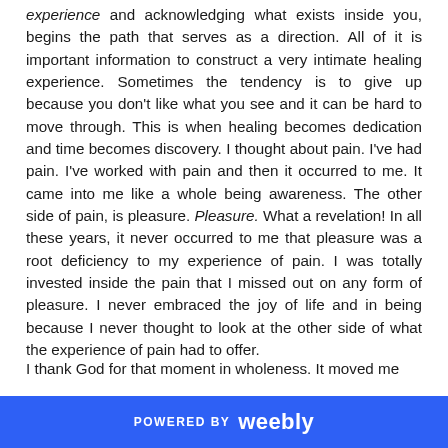experience and acknowledging what exists inside you, begins the path that serves as a direction. All of it is important information to construct a very intimate healing experience. Sometimes the tendency is to give up because you don't like what you see and it can be hard to move through. This is when healing becomes dedication and time becomes discovery. I thought about pain. I've had pain. I've worked with pain and then it occurred to me. It came into me like a whole being awareness. The other side of pain, is pleasure. Pleasure. What a revelation! In all these years, it never occurred to me that pleasure was a root deficiency to my experience of pain. I was totally invested inside the pain that I missed out on any form of pleasure. I never embraced the joy of life and in being because I never thought to look at the other side of what the experience of pain had to offer.
I thank God for that moment in wholeness. It moved me
POWERED BY weebly